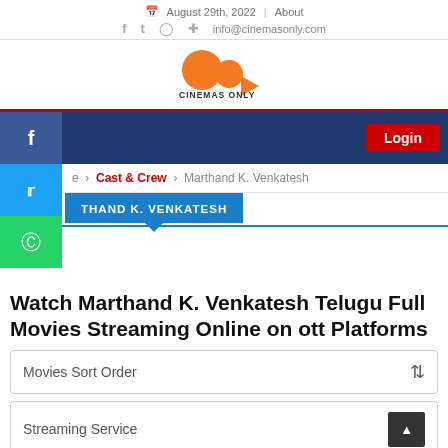August 29th, 2022 | About  f  t  (instagram)  (pinterest)  info@cinemasonly.com
[Figure (logo): Cinemas Only logo: two orange circles and an orange triangle play button with text CINEMAS ONLY]
Login button | Navigation bar
e > Cast & Crew > Marthand K. Venkatesh
THAND K. VENKATESH
Watch Marthand K. Venkatesh Telugu Full Movies Streaming Online on ott Platforms
Movies Sort Order
Streaming Service